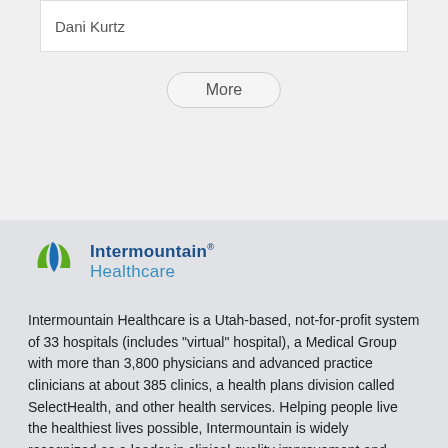Dani Kurtz
More
[Figure (logo): Intermountain Healthcare logo with green/blue leaf icon and blue text]
Intermountain Healthcare is a Utah-based, not-for-profit system of 33 hospitals (includes "virtual" hospital), a Medical Group with more than 3,800 physicians and advanced practice clinicians at about 385 clinics, a health plans division called SelectHealth, and other health services. Helping people live the healthiest lives possible, Intermountain is widely recognized as a leader in clinical quality improvement and efficient healthcare delivery.